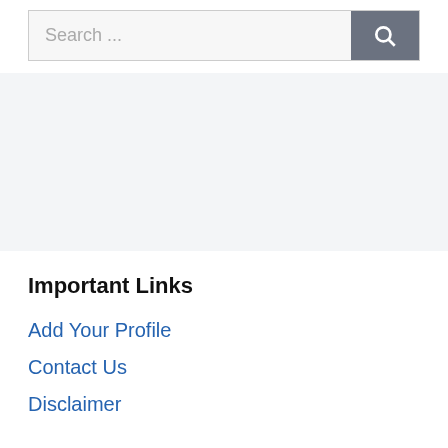[Figure (screenshot): Search bar with text input showing 'Search ...' placeholder and a dark gray search button with magnifying glass icon]
[Figure (other): Light gray horizontal band/advertisement placeholder area]
Important Links
Add Your Profile
Contact Us
Disclaimer